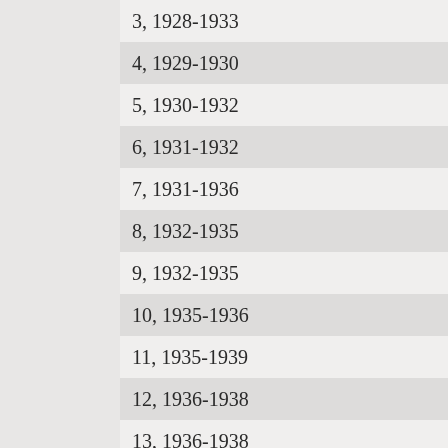3, 1928-1933
4, 1929-1930
5, 1930-1932
6, 1931-1932
7, 1931-1936
8, 1932-1935
9, 1932-1935
10, 1935-1936
11, 1935-1939
12, 1936-1938
13, 1936-1938
14, 1937
15, 1937
16, 1937-1939
17, 1937-1945